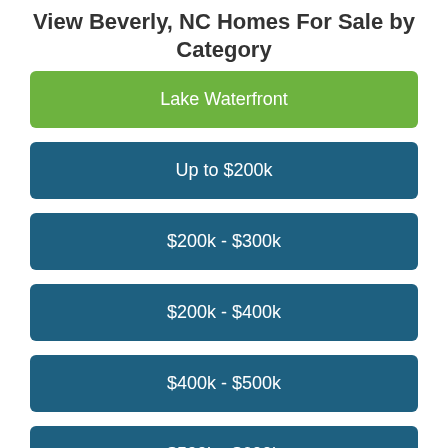View Beverly, NC Homes For Sale by Category
Lake Waterfront
Up to $200k
$200k - $300k
$200k - $400k
$400k - $500k
$500k - $600k